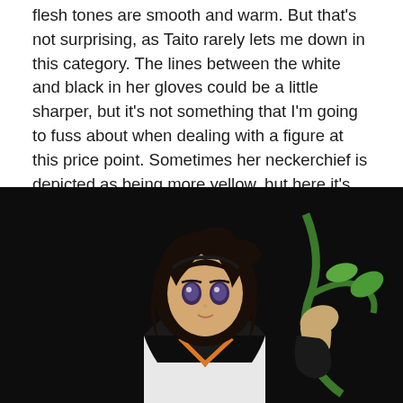flesh tones are smooth and warm. But that's not surprising, as Taito rarely lets me down in this category. The lines between the white and black in her gloves could be a little sharper, but it's not something that I'm going to fuss about when dealing with a figure at this price point. Sometimes her neckerchief is depicted as being more yellow, but here it's orange, the same as it was with her sister's.
[Figure (photo): Photo of an anime-style figure of a girl with dark brown hair wearing a black and white sailor uniform with an orange neckerchief, holding a green plant/vine prop, photographed against a black background.]